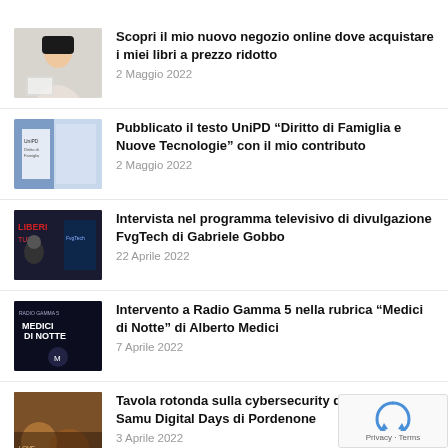Scopri il mio nuovo negozio online dove acquistare i miei libri a prezzo ridotto
2 Maggio 2022
Pubblicato il testo UniPD “Diritto di Famiglia e Nuove Tecnologie” con il mio contributo
2 Maggio 2022
Intervista nel programma televisivo di divulgazione FvgTech di Gabriele Gobbo
22 Aprile 2022
Intervento a Radio Gamma 5 nella rubrica “Medici di Notte” di Alberto Medici
7 Aprile 2022
Tavola rotonda sulla cybersecurity di ITClub FVG al Samu Digital Days di Pordenone
3 Aprile 2022
Lezione sull’importanza della cybersecurity all’Università degli